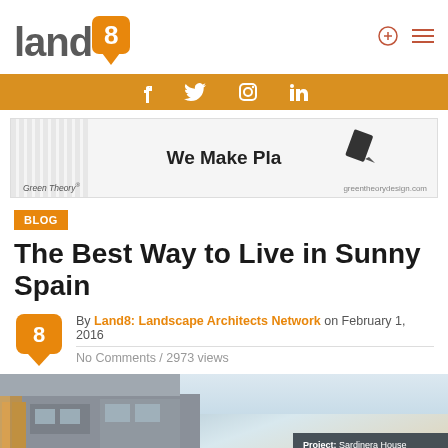Land8 logo with navigation icons
[Figure (logo): Land8 logo: stylized text 'land' with orange rounded square containing '8', and speech bubble tail below]
[Figure (infographic): Social media bar with icons: f (Facebook), Twitter bird, Instagram circle, in (LinkedIn) on golden/amber background]
[Figure (screenshot): Advertisement banner: 'We Make Pla' text, Green Theory branding, pencil icon, greentheorydesign.com]
BLOG
The Best Way to Live in Sunny Spain
By Land8: Landscape Architects Network on February 1, 2016
No Comments / 2973 views
[Figure (photo): Bottom portion of article showing a modern building (Sardinera House) with gray concrete and orange/warm-colored wood elements against a light sky. Project badge overlay in bottom right reading 'Project: Sardinera House']